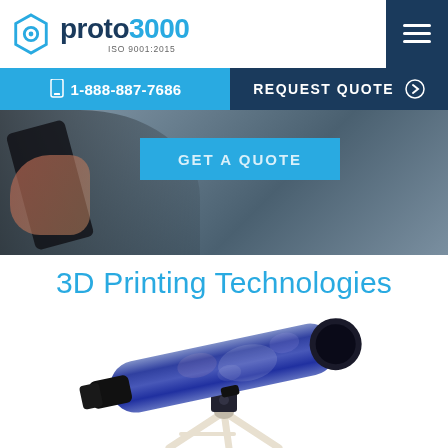[Figure (logo): Proto3000 logo with hexagonal icon, company name in navy and cyan, ISO 9001:2015 certification text]
☰ (hamburger menu button)
📱 1-888-887-7686 | REQUEST QUOTE ❯
[Figure (photo): Hero image showing a person holding a smartphone, partially visible with hands and phone against a blurred background, with GET A QUOTE button overlay]
3D Printing Technologies
[Figure (photo): 3D printed telescope with galaxy/space texture pattern on body, mounted on white tripod stand]